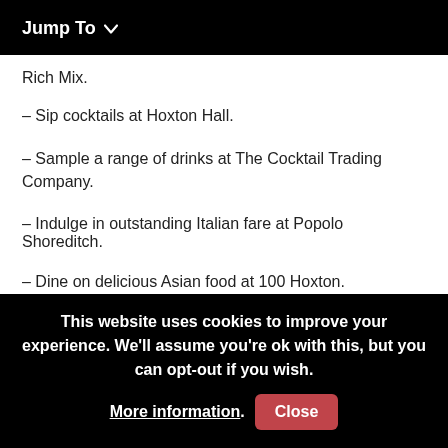Jump To ∨
Rich Mix.
– Sip cocktails at Hoxton Hall.
– Sample a range of drinks at The Cocktail Trading Company.
– Indulge in outstanding Italian fare at Popolo Shoreditch.
– Dine on delicious Asian food at 100 Hoxton.
This website uses cookies to improve your experience. We'll assume you're ok with this, but you can opt-out if you wish. More information. Close